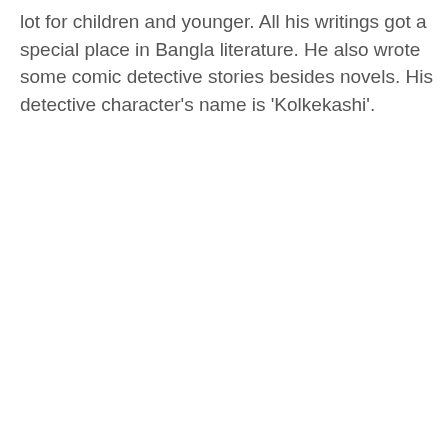lot for children and younger. All his writings got a special place in Bangla literature. He also wrote some comic detective stories besides novels. His detective character's name is 'Kolkekashi'.